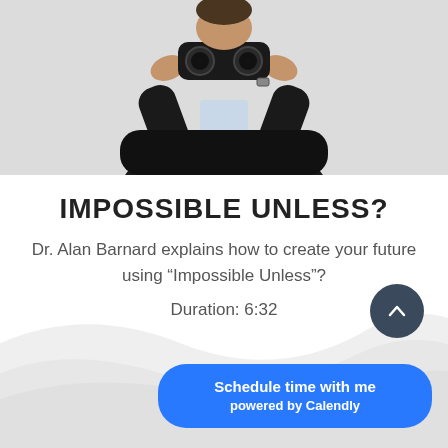[Figure (photo): A man in a dark suit sitting in a black leather chair, holding binoculars up to his face. Partial view showing torso and hands.]
IMPOSSIBLE UNLESS?
Dr. Alan Barnard explains how to create your future using “Impossible Unless”?
Duration: 6:32
[Figure (illustration): Decorative wavy light grey background shapes at the bottom of the page]
Schedule time with me powered by Calendly